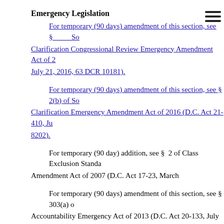Emergency Legislation
For temporary (90 days) amendment of this section, see § [truncated] Clarification Congressional Review Emergency Amendment Act of 2[truncated] July 21, 2016, 63 DCR 10181).
For temporary (90 days) amendment of this section, see § 2(b) of S[truncated] Clarification Emergency Amendment Act of 2016 (D.C. Act 21-410, Ju[truncated] 8202).
For temporary (90 day) addition, see § 2 of Class Exclusion Standa[truncated] Amendment Act of 2007 (D.C. Act 17-23, March
For temporary (90 days) amendment of this section, see § 303(a) o[truncated] Accountability Emergency Act of 2013 (D.C. Act 20-133, July 30, 2013, DCSTAT 1973).
Temporary Legislation
Section 2 of D.C. Law 17-8 added provisions to read as follows:
“Sec. 1a. Establishment of standards for class exclusions and susp[truncated]